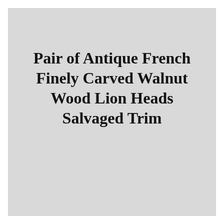Pair of Antique French Finely Carved Walnut Wood Lion Heads Salvaged Trim